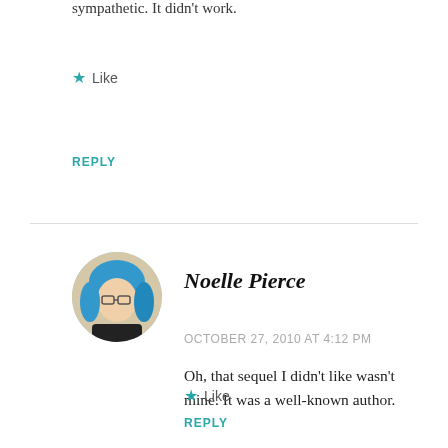sympathetic. It didn't work.
★ Like
REPLY
Noelle Pierce
OCTOBER 27, 2010 AT 4:12 PM
Oh, that sequel I didn't like wasn't mine. It was a well-known author.
★ Like
REPLY